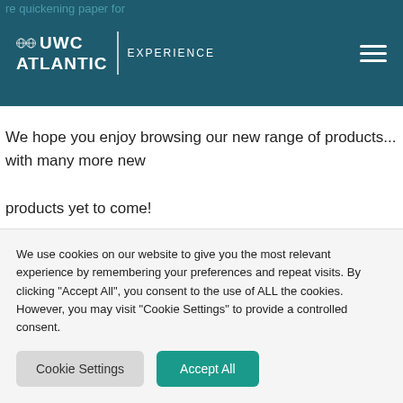re quickening paper for
[Figure (logo): UWC Atlantic Experience logo with globe icons on dark teal header bar, with hamburger menu icon on right]
We hope you enjoy browsing our new range of products... with many more new products yet to come!
SHOP
Back to News
We use cookies on our website to give you the most relevant experience by remembering your preferences and repeat visits. By clicking "Accept All", you consent to the use of ALL the cookies. However, you may visit "Cookie Settings" to provide a controlled consent.
Cookie Settings
Accept All